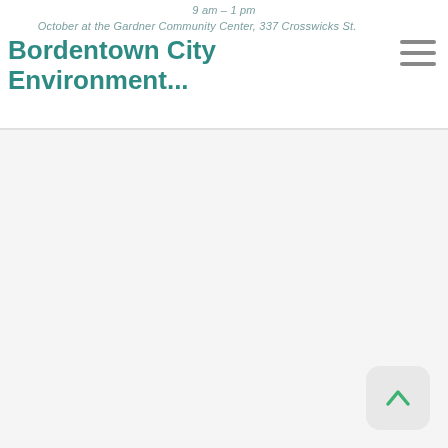9 am – 1 pm
Bordentown City Environment...
October at the Gardner Community Center, 337 Crosswicks St.